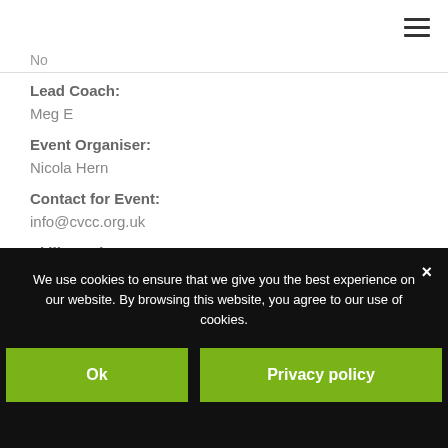≡ (hamburger menu)
No
Lead Coach:
Meg E
Event Organiser:
Nicola Hern
Contact for Event:
info@cvcc.org.uk
Skill Level:
N/A
We use cookies to ensure that we give you the best experience on our website. By browsing this website, you agree to our use of cookies.